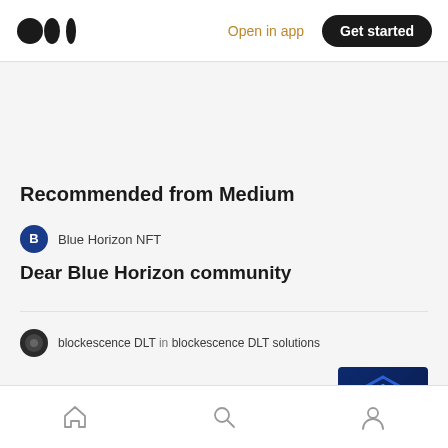Medium logo | Open in app | Get started
Recommended from Medium
Blue Horizon NFT
Dear Blue Horizon community
blockescence DLT in blockescence DLT solutions
Blockchain Industry Highlights — May 2019
Home | Search | Profile